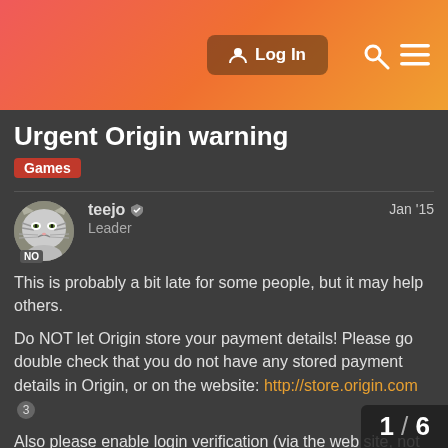[Figure (screenshot): Forum website header with gradient background (red to orange). Contains a 'Log In' button, search icon, and hamburger menu icon on the right.]
Urgent Origin warning
Games
teejo  Leader  Jan '15
This is probably a bit late for some people, but it may help others.

Do NOT let Origin store your payment details! Please go double check that you do not have any stored payment details in Origin, or on the website: http://store.origin.com 3

Also please enable login verification (via the web site, not sure if you can do it in the client) - this will request a one time password from unrecognized devices.
1 / 6